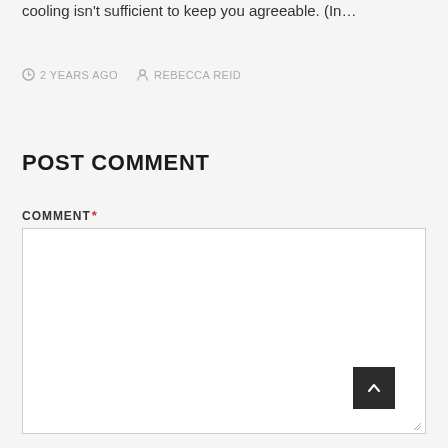cooling isn't sufficient to keep you agreeable. (In…
2 YEARS AGO   REBECCA REID
POST COMMENT
COMMENT *
[Figure (screenshot): Empty comment text area input box with a dark scroll-to-top button in the bottom right corner and a resize handle]